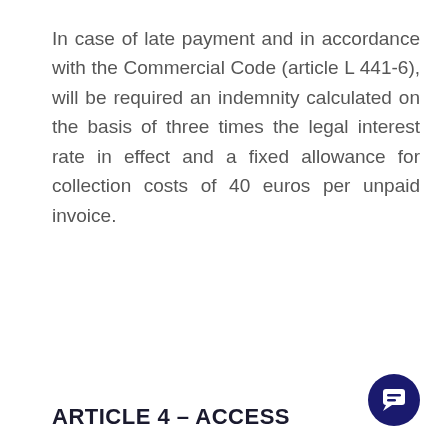In case of late payment and in accordance with the Commercial Code (article L 441-6), will be required an indemnity calculated on the basis of three times the legal interest rate in effect and a fixed allowance for collection costs of 40 euros per unpaid invoice.
ARTICLE 4 – ACCESS